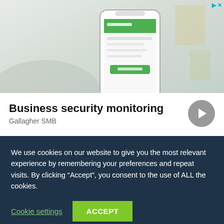[Figure (screenshot): Advertisement banner showing a person holding a smartphone with a green app interface visible. The ad is for Gallagher SMB Business security monitoring.]
Business security monitoring
Gallagher SMB
We use cookies on our website to give you the most relevant experience by remembering your preferences and repeat visits. By clicking “Accept”, you consent to the use of ALL the cookies.
Cookie settings
ACCEPT